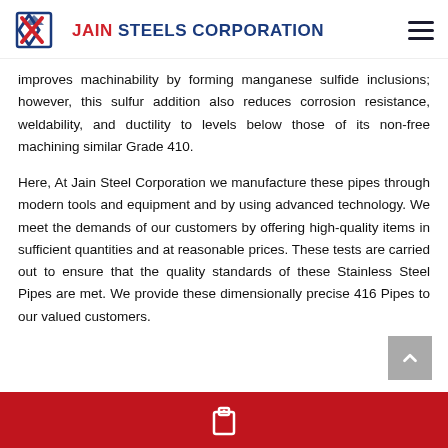JAIN STEELS CORPORATION
improves machinability by forming manganese sulfide inclusions; however, this sulfur addition also reduces corrosion resistance, weldability, and ductility to levels below those of its non-free machining similar Grade 410.
Here, At Jain Steel Corporation we manufacture these pipes through modern tools and equipment and by using advanced technology. We meet the demands of our customers by offering high-quality items in sufficient quantities and at reasonable prices. These tests are carried out to ensure that the quality standards of these Stainless Steel Pipes are met. We provide these dimensionally precise 416 Pipes to our valued customers.